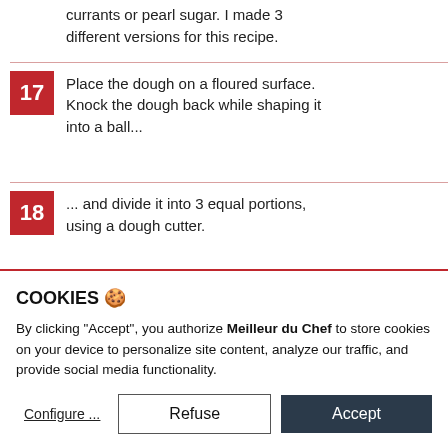currants or pearl sugar. I made 3 different versions for this recipe.
17 Place the dough on a floured surface. Knock the dough back while shaping it into a ball...
18 ... and divide it into 3 equal portions, using a dough cutter.
19 Cougnou with currants: Roll the dough out, lengthwise. Place the pearl...
COOKIES 🍪
By clicking "Accept", you authorize Meilleur du Chef to store cookies on your device to personalize site content, analyze our traffic, and provide social media functionality.
Configure ... | Refuse | Accept